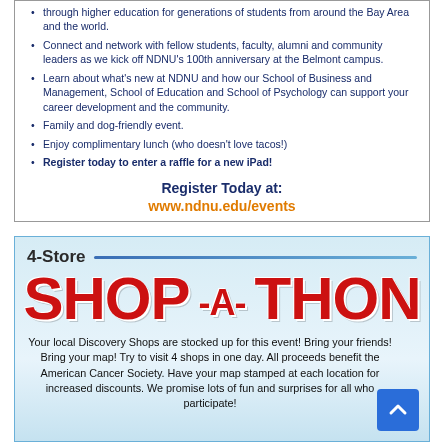through higher education for generations of students from around the Bay Area and the world.
Connect and network with fellow students, faculty, alumni and community leaders as we kick off NDNU's 100th anniversary at the Belmont campus.
Learn about what's new at NDNU and how our School of Business and Management, School of Education and School of Psychology can support your career development and the community.
Family and dog-friendly event.
Enjoy complimentary lunch (who doesn't love tacos!)
Register today to enter a raffle for a new iPad!
Register Today at:
www.ndnu.edu/events
[Figure (infographic): 4-Store SHOP-A-THON advertisement for American Cancer Society Discovery Shops with blue gradient background and large red text]
Your local Discovery Shops are stocked up for this event! Bring your friends! Bring your map! Try to visit 4 shops in one day. All proceeds benefit the American Cancer Society. Have your map stamped at each location for increased discounts. We promise lots of fun and surprises for all who participate!